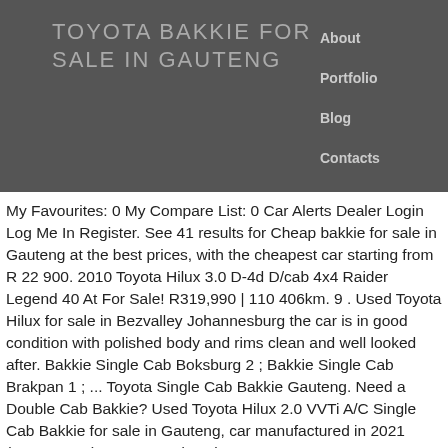TOYOTA BAKKIE FOR SALE IN GAUTENG
About
Portfolio
Blog
Contacts
My Favourites: 0 My Compare List: 0 Car Alerts Dealer Login Log Me In Register. See 41 results for Cheap bakkie for sale in Gauteng at the best prices, with the cheapest car starting from R 22 900. 2010 Toyota Hilux 3.0 D-4d D/cab 4x4 Raider Legend 40 At For Sale! R319,990 | 110 406km. 9 . Used Toyota Hilux for sale in Bezvalley Johannesburg the car is in good condition with polished body and rims clean and well looked after. Bakkie Single Cab Boksburg 2 ; Bakkie Single Cab Brakpan 1 ; ... Toyota Single Cab Bakkie Gauteng. Need a Double Cab Bakkie? Used Toyota Hilux 2.0 VVTi A/C Single Cab Bakkie for sale in Gauteng, car manufactured in 2021 (ID:6771378) Toyota Land Cruiser 79